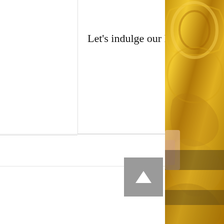[Figure (screenshot): Partial screenshot of a webpage showing a card with text 'Let's indulge our kinky lockdown fantasies together', pagination dots, and a right-side decorative gold ornamental image with a back-to-top button]
Let's indulge our kinky lockdown fantasies together